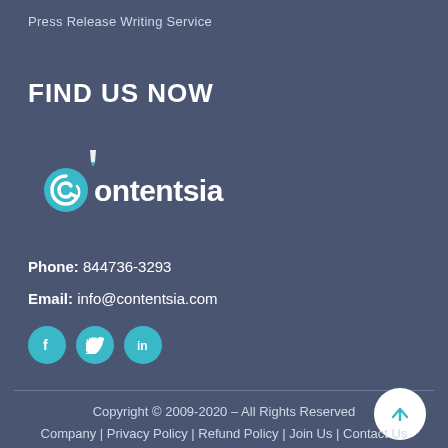Press Release Writing Service
FIND US NOW
[Figure (logo): Contentsia logo with stylized C icon and pen nib icon above the text]
Phone: 844736-3293
Email: info@contentsia.com
[Figure (infographic): Social media icons: Facebook, Twitter, LinkedIn in teal circles]
Copyright © 2009-2020 – All Rights Reserved
Company | Privacy Policy | Refund Policy | Join Us | Contact Us